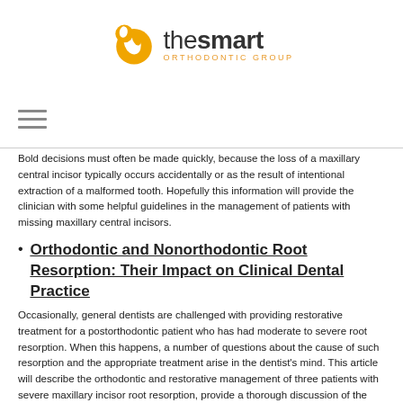the smart ORTHODONTIC GROUP
Bold decisions must often be made quickly, because the loss of a maxillary central incisor typically occurs accidentally or as the result of intentional extraction of a malformed tooth. Hopefully this information will provide the clinician with some helpful guidelines in the management of patients with missing maxillary central incisors.
Orthodontic and Nonorthodontic Root Resorption: Their Impact on Clinical Dental Practice
Occasionally, general dentists are challenged with providing restorative treatment for a postorthodontic patient who has had moderate to severe root resorption. When this happens, a number of questions about the cause of such resorption and the appropriate treatment arise in the dentist's mind. This article will describe the orthodontic and restorative management of three patients with severe maxillary incisor root resorption, provide a thorough discussion of the